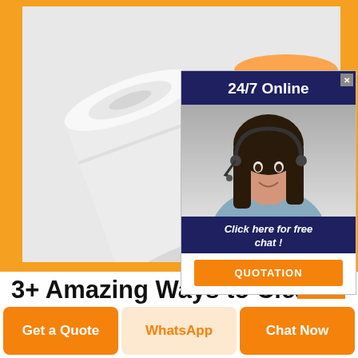[Figure (photo): Rolls of vinyl/banner material on a white background, showing plain white rolls and colorful printed rolls with various designs]
[Figure (infographic): Ad popup overlay: dark navy header '24/7 Online', photo of smiling woman with headset, navy box 'Click here for free chat!', orange button 'QUOTATION', close X button top right]
3+ Amazing Ways to Clean Vinyl Furniture Tips
Get a Quote
WhatsApp
Chat Now